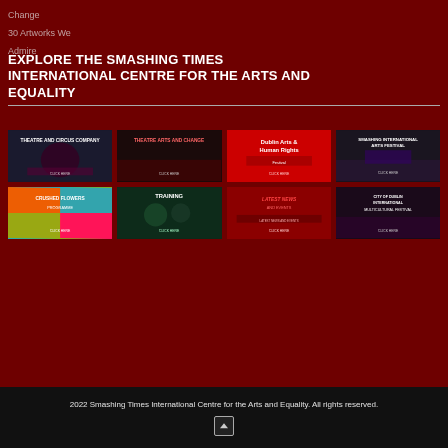Change
30 Artworks We Admire
EXPLORE THE SMASHING TIMES INTERNATIONAL CENTRE FOR THE ARTS AND EQUALITY
[Figure (screenshot): Grid of 8 thumbnail images from Smashing Times website sections: Theatre and Circus Company, Theatre Arts and Change, Dublin Arts & Human Rights Festival, Smashing International Arts Festival, Crushed Flowers (colorful), Training, Latest News and Events, City of Dublin International Multiculture Festival]
2022 Smashing Times International Centre for the Arts and Equality. All rights reserved.